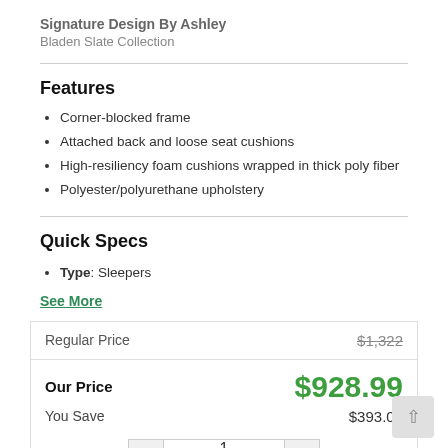Signature Design By Ashley
Bladen Slate Collection
Features
Corner-blocked frame
Attached back and loose seat cushions
High-resiliency foam cushions wrapped in thick poly fiber
Polyester/polyurethane upholstery
Quick Specs
Type: Sleepers
See More
|  |  |
| --- | --- |
| Regular Price | $1,322 |
| Our Price | $928.99 |
| You Save | $393.01 |